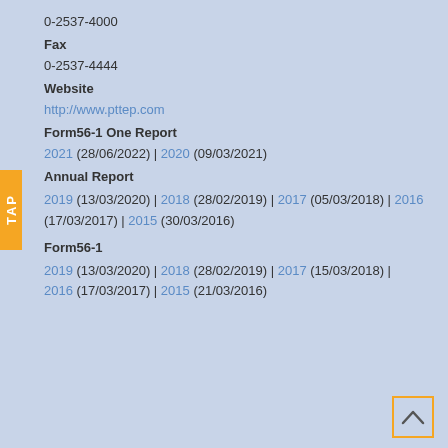0-2537-4000
Fax
0-2537-4444
Website
http://www.pttep.com
Form56-1 One Report
2021 (28/06/2022) | 2020 (09/03/2021)
Annual Report
2019 (13/03/2020) | 2018 (28/02/2019) | 2017 (05/03/2018) | 2016 (17/03/2017) | 2015 (30/03/2016)
Form56-1
2019 (13/03/2020) | 2018 (28/02/2019) | 2017 (15/03/2018) | 2016 (17/03/2017) | 2015 (21/03/2016)